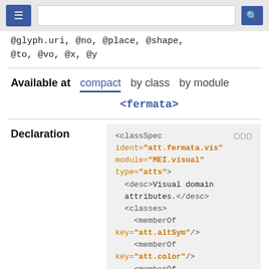@glyph.uri, @no, @place, @shape, @to, @vo, @x, @y
Available at  compact  by class  by module
<fermata>
Declaration
<classSpec ident="att.fermata.vis" module="MEI.visual" type="atts">  <desc>Visual domain attributes.</desc>  <classes>    <memberOf key="att.altSym"/>    <memberOf key="att.color"/>    <memberOf key="att.extSym"/>    <memberOf